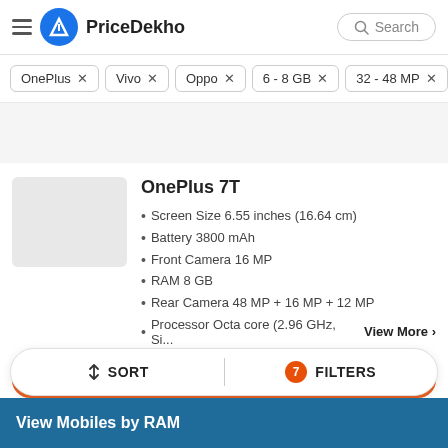PriceDekho
OnePlus ×
Vivo ×
Oppo ×
6 - 8 GB ×
32 - 48 MP ×
OnePlus 7T
Screen Size 6.55 inches (16.64 cm)
Battery 3800 mAh
Front Camera 16 MP
RAM 8 GB
Rear Camera 48 MP + 16 MP + 12 MP
Processor Octa core (2.96 GHz, Si...
View More
↕ SORT   7 FILTERS
View Mobiles by RAM